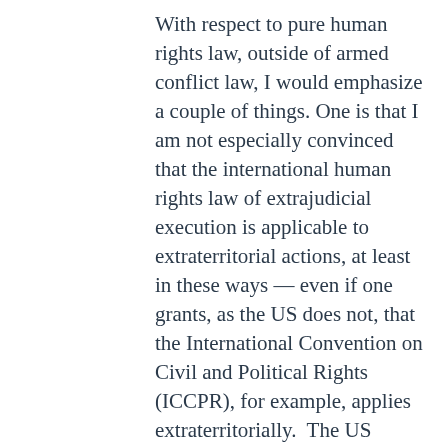With respect to pure human rights law, outside of armed conflict law, I would emphasize a couple of things. One is that I am not especially convinced that the international human rights law of extrajudicial execution is applicable to extraterritorial actions, at least in these ways — even if one grants, as the US does not, that the International Convention on Civil and Political Rights (ICCPR), for example, applies extraterritorially.  The US government has responded to the Special Rapporteur on Extrajudicial Execution that it regards his inquiries as beyond his